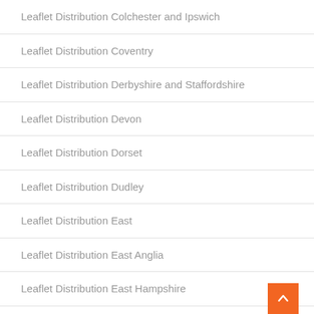Leaflet Distribution Colchester and Ipswich
Leaflet Distribution Coventry
Leaflet Distribution Derbyshire and Staffordshire
Leaflet Distribution Devon
Leaflet Distribution Dorset
Leaflet Distribution Dudley
Leaflet Distribution East
Leaflet Distribution East Anglia
Leaflet Distribution East Hampshire
Leaflet Distribution East Kent
Leaflet Distribution East London